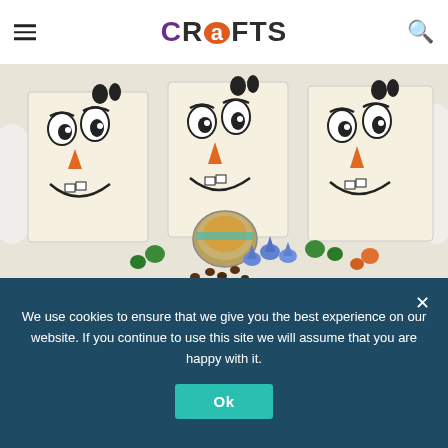CRAFTS
[Figure (photo): Three Olaf snowman face gift boxes made from paper/cardboard with drawn eyes, orange carrot noses, and smiles. In front are various candies including blue Hershey's Kisses, green candies, and a small tin with a cookie. Watermark reads 'Mad in Crafts 2014'.]
We use cookies to ensure that we give you the best experience on our website. If you continue to use this site we will assume that you are happy with it.